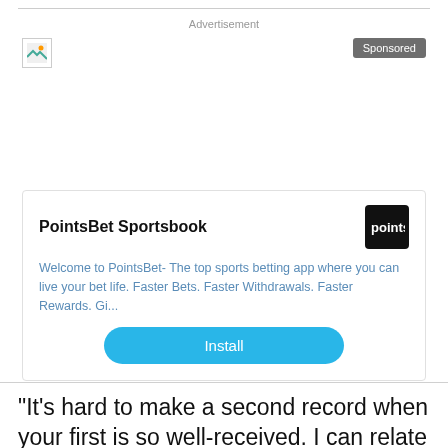Advertisement
[Figure (screenshot): Broken image placeholder icon (small, top-left of ad area)]
Sponsored
[Figure (screenshot): PointsBet Sportsbook app ad card with app icon, description, and Install button]
PointsBet Sportsbook
Welcome to PointsBet- The top sports betting app where you can live your bet life. Faster Bets. Faster Withdrawals. Faster Rewards. Gi...
Install
“It’s hard to make a second record when your first is so well-received. I can relate to that pressure. Not that I have all the answers, but I can at least be a friend and give her advice. Sometimes I listen to